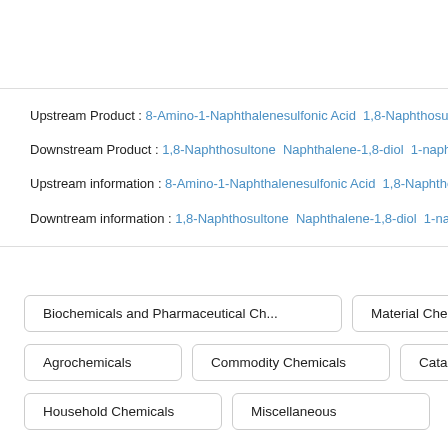Upstream Product : 8-Amino-1-Naphthalenesulfonic Acid  1,8-Naphthosultone
Downstream Product : 1,8-Naphthosultone  Naphthalene-1,8-diol  1-naphthol
Upstream information : 8-Amino-1-Naphthalenesulfonic Acid  1,8-Naphthosulto...
Downtream information : 1,8-Naphthosultone  Naphthalene-1,8-diol  1-naphtho...
Biochemicals and Pharmaceutical Ch...
Material Chemicals
Agrochemicals
Commodity Chemicals
Catalysts and...
Household Chemicals
Miscellaneous